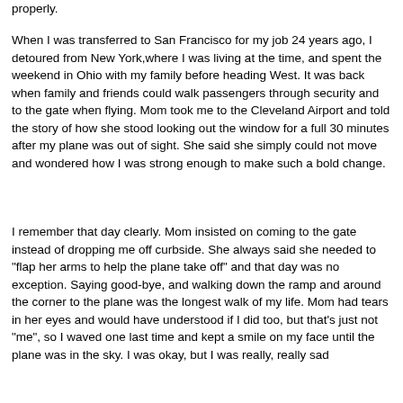properly.
When I was transferred to San Francisco for my job 24 years ago, I detoured from New York,where I was living at the time, and spent the weekend in Ohio with my family before heading West. It was back when family and friends could walk passengers through security and to the gate when flying. Mom took me to the Cleveland Airport and told the story of how she stood looking out the window for a full 30 minutes after my plane was out of sight. She said she simply could not move and wondered how I was strong enough to make such a bold change.
I remember that day clearly. Mom insisted on coming to the gate instead of dropping me off curbside. She always said she needed to "flap her arms to help the plane take off" and that day was no exception. Saying good-bye, and walking down the ramp and around the corner to the plane was the longest walk of my life. Mom had tears in her eyes and would have understood if I did too, but that's just not "me", so I waved one last time and kept a smile on my face until the plane was in the sky. I was okay, but I was really, really sad